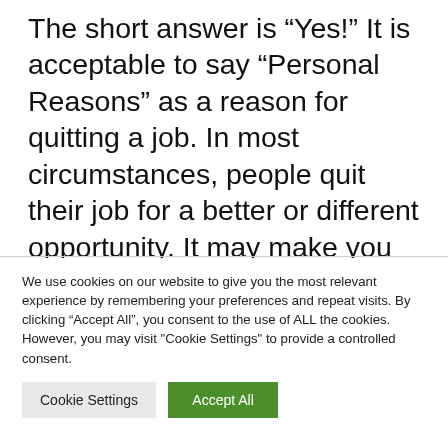The short answer is “Yes!” It is acceptable to say “Personal Reasons” as a reason for quitting a job. In most circumstances, people quit their job for a better or different opportunity. It may make you uncomfortable to share this with your current employer and you should not have to do so unwillingly.
We use cookies on our website to give you the most relevant experience by remembering your preferences and repeat visits. By clicking “Accept All”, you consent to the use of ALL the cookies. However, you may visit “Cookie Settings” to provide a controlled consent.